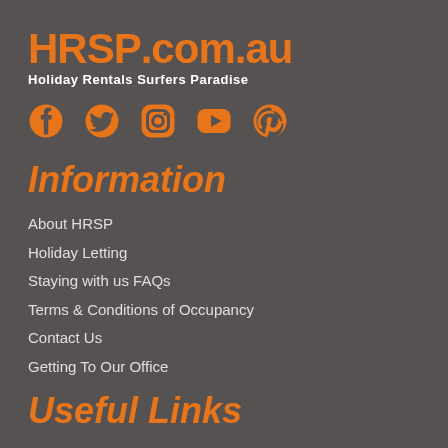HRSP.com.au Holiday Rentals Surfers Paradise
[Figure (other): Social media icons: Facebook, Twitter, Instagram, YouTube, Pinterest]
Information
About HRSP
Holiday Letting
Staying with us FAQs
Terms & Conditions of Occupancy
Contact Us
Getting To Our Office
Useful Links